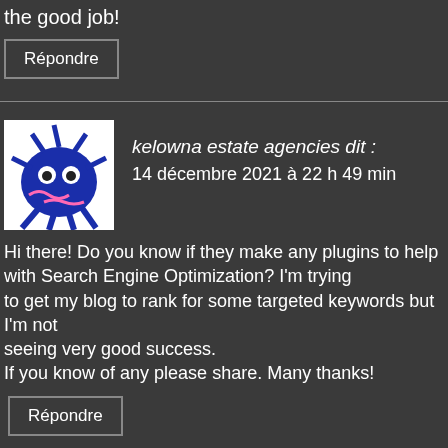the good job!
Répondre
kelowna estate agencies dit : 14 décembre 2021 à 22 h 49 min
Hi there! Do you know if they make any plugins to help with Search Engine Optimization? I'm trying to get my blog to rank for some targeted keywords but I'm not seeing very good success. If you know of any please share. Many thanks!
Répondre
https://www.peninsulaclarion.com/ dit : 16 décembre 2021 à 20 h 02 min